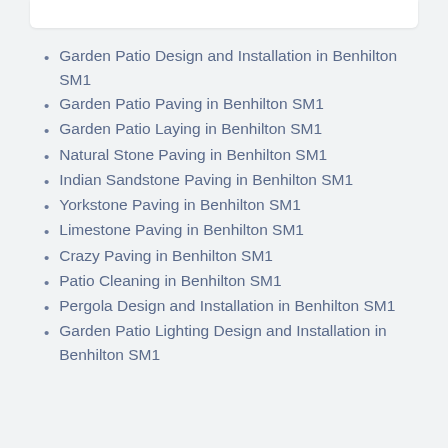Garden Patio Design and Installation in Benhilton SM1
Garden Patio Paving in Benhilton SM1
Garden Patio Laying in Benhilton SM1
Natural Stone Paving in Benhilton SM1
Indian Sandstone Paving in Benhilton SM1
Yorkstone Paving in Benhilton SM1
Limestone Paving in Benhilton SM1
Crazy Paving in Benhilton SM1
Patio Cleaning in Benhilton SM1
Pergola Design and Installation in Benhilton SM1
Garden Patio Lighting Design and Installation in Benhilton SM1